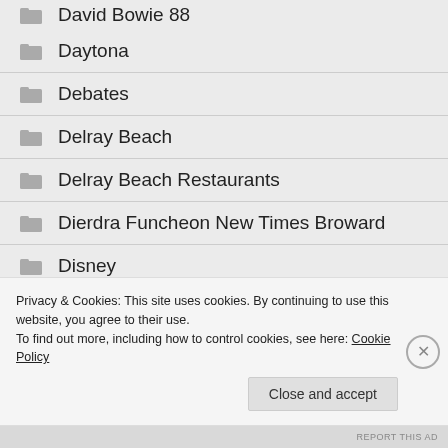David Bowie 88
Daytona
Debates
Delray Beach
Delray Beach Restaurants
Dierdra Funcheon New Times Broward
Disney
Dogs
Privacy & Cookies: This site uses cookies. By continuing to use this website, you agree to their use.
To find out more, including how to control cookies, see here: Cookie Policy
REPORT THIS AD